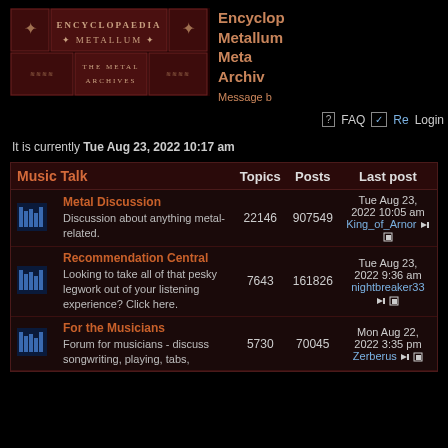[Figure (logo): Encyclopaedia Metallum: The Metal Archives banner logo with ornate dark red styling]
Encyclopaedia Metallum: The Metal Archives Message board
FAQ  Register  Login
It is currently Tue Aug 23, 2022 10:17 am
| Music Talk |  | Topics | Posts | Last post |
| --- | --- | --- | --- | --- |
| [icon] | Metal Discussion
Discussion about anything metal-related. | 22146 | 907549 | Tue Aug 23, 2022 10:05 am
King_of_Arnor →[] |
| [icon] | Recommendation Central
Looking to take all of that pesky legwork out of your listening experience? Click here. | 7643 | 161826 | Tue Aug 23, 2022 9:36 am
nightbreaker33 →[] |
| [icon] | For the Musicians
Forum for musicians - discuss songwriting, playing, tabs, | 5730 | 70045 | Mon Aug 22, 2022 3:35 pm
Zerberus →[] |